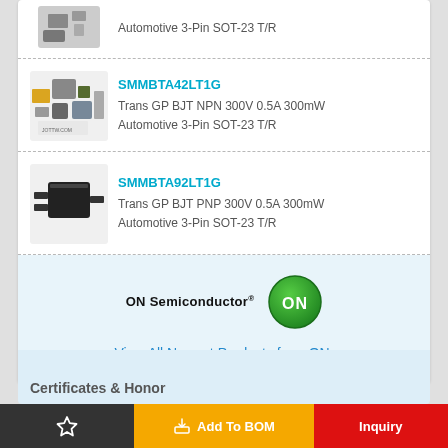Automotive 3-Pin SOT-23 T/R
SMMBTA42LT1G
Trans GP BJT NPN 300V 0.5A 300mW Automotive 3-Pin SOT-23 T/R
[Figure (photo): Component kit photo with ICs and components, JOTTW.COM watermark]
SMMBTA92LT1G
Trans GP BJT PNP 300V 0.5A 300mW Automotive 3-Pin SOT-23 T/R
[Figure (photo): SOT-23 transistor component photo]
[Figure (logo): ON Semiconductor logo with green ON badge]
View All Newest Products from ON.
Certificates & Honor